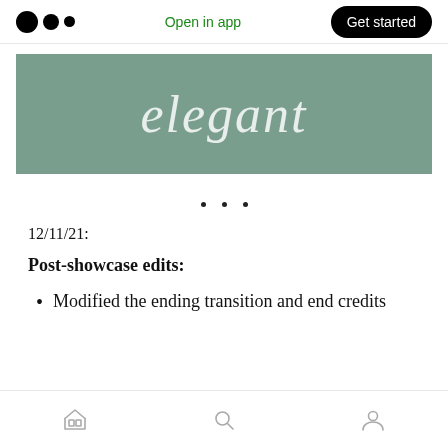Open in app  Get started
[Figure (illustration): Sage green banner with italic white cursive text reading 'elegant']
· · ·
12/11/21:
Post-showcase edits:
Modified the ending transition and end credits
Home  Search  Profile